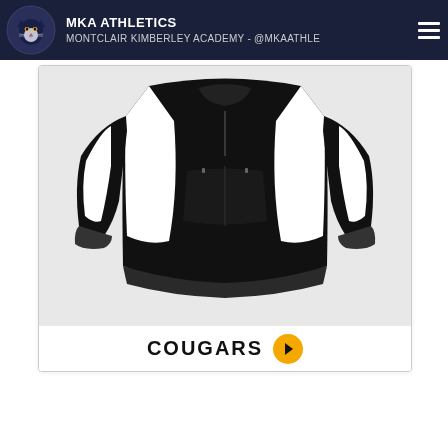MKA ATHLETICS
MONTCLAIR KIMBERLEY ACADEMY - @MKAATHLE
[Figure (photo): Black athletic jacket/pullover windbreaker with white side panels, displayed on a white background. Below the jacket image is the text 'COUGARS' with a gold play button icon.]